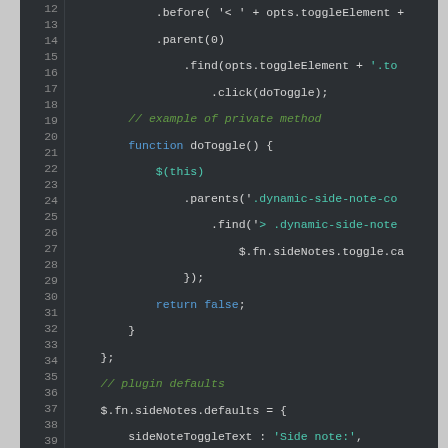[Figure (screenshot): Code editor screenshot showing JavaScript code lines 12–39 with syntax highlighting on dark background. Line numbers in gray on left, code in various colors (green/teal for keywords, white for identifiers, teal for strings, gray for comments).]